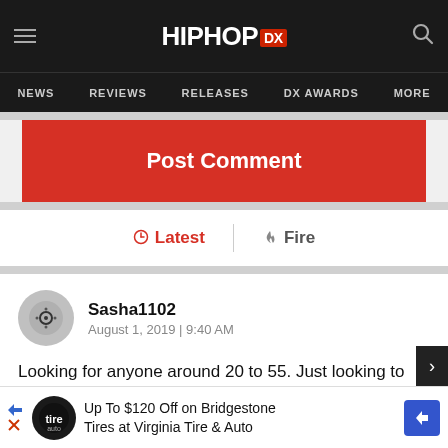HIPHOP DX — NEWS | REVIEWS | RELEASES | DX AWARDS | MORE
Post Comment
Latest | Fire
Sasha1102
August 1, 2019 | 9:40 AM

Looking for anyone around 20 to 55. Just looking to laugh, cuddle and fuck, however you want it. I work for myself, so I have no rules. 100% Me 100% Fun 100% Real!! I'd love to enjoy some time with you. Find me on ----www.zahorma.com/Sasha1102
Up To $120 Off on Bridgestone Tires at Virginia Tire & Auto